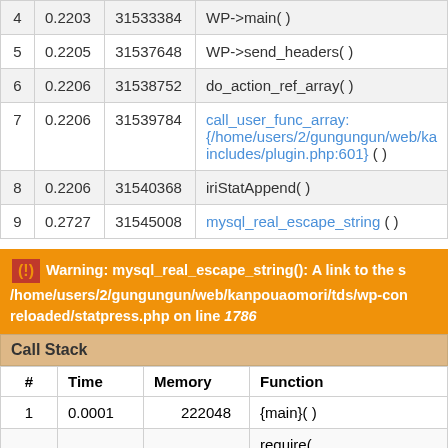| # | Time | Memory | Function |
| --- | --- | --- | --- |
| 4 | 0.2203 | 31533384 | WP->main( ) |
| 5 | 0.2205 | 31537648 | WP->send_headers( ) |
| 6 | 0.2206 | 31538752 | do_action_ref_array( ) |
| 7 | 0.2206 | 31539784 | call_user_func_array: {/home/users/2/gungungun/web/ka includes/plugin.php:601} ( ) |
| 8 | 0.2206 | 31540368 | iriStatAppend( ) |
| 9 | 0.2727 | 31545008 | mysql_real_escape_string ( ) |
Warning: mysql_real_escape_string(): A link to the s /home/users/2/gungungun/web/kanpouaomori/tds/wp-con reloaded/statpress.php on line 1786
| # | Time | Memory | Function |
| --- | --- | --- | --- |
| 1 | 0.0001 | 222048 | {main}( ) |
| 2 | 0.0002 | 224000 | require( ... |